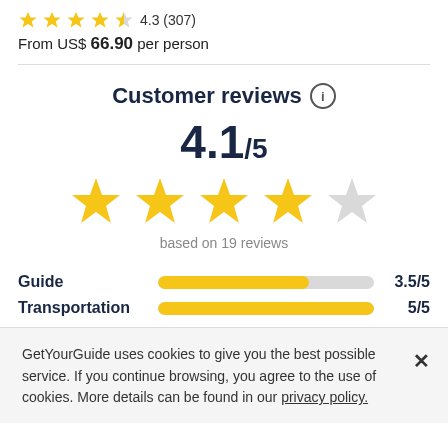4.3 (307) From US$ 66.90 per person
Customer reviews
4.1/5
[Figure (other): 4 filled gold stars and 1 empty/gray star rating display]
based on 19 reviews
Guide 3.5/5
Transportation 5/5
GetYourGuide uses cookies to give you the best possible service. If you continue browsing, you agree to the use of cookies. More details can be found in our privacy policy.